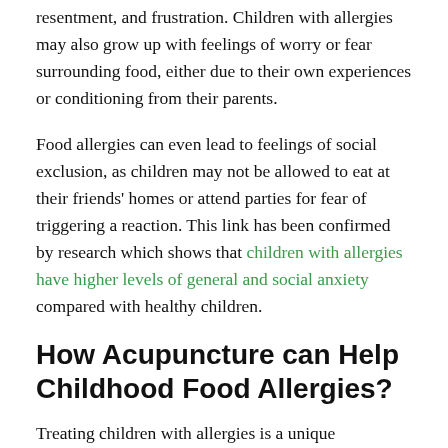resentment, and frustration. Children with allergies may also grow up with feelings of worry or fear surrounding food, either due to their own experiences or conditioning from their parents.
Food allergies can even lead to feelings of social exclusion, as children may not be allowed to eat at their friends' homes or attend parties for fear of triggering a reaction. This link has been confirmed by research which shows that children with allergies have higher levels of general and social anxiety compared with healthy children.
How Acupuncture can Help Childhood Food Allergies?
Treating children with allergies is a unique opportunity to have a lasting impact on an entire